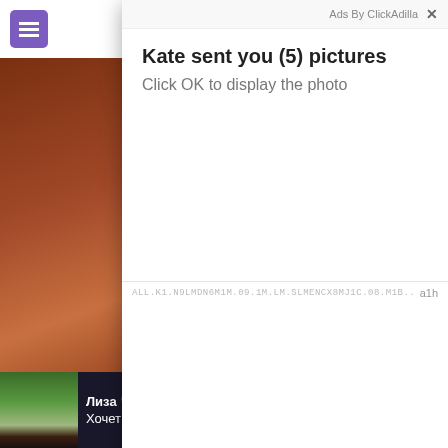[Figure (screenshot): Website background with purple icon, hamburger menu, brownish and bluish thumbnail images, yellow thumbnail, dark thumbnail with number 2, profile card at bottom with Russian text notification]
[Figure (screenshot): Modal popup ad overlay showing 'Ads By ClickAdilla' header, title 'Kate sent you (5) pictures', subtitle 'Click OK to display the photo', with message input area and timestamps 'a1h' and '9p|']
Ads By ClickAdilla
Kate sent you (5) pictures
Click OK to display the photo
a1h
9p|
Best P
seconds  X
00:1
2
04:25
Лиза 🖤
Хочет с вами дружить♥
ОТВЕТИТЬ